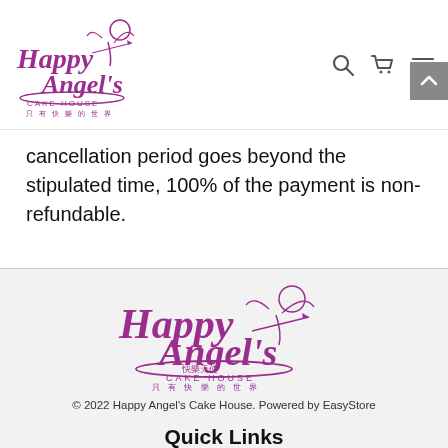[Figure (logo): Happy Angel's Cake House logo with angel illustration, Chinese text, and English subtitle]
cancellation period goes beyond the stipulated time, 100% of the payment is non-refundable.
[Figure (logo): Happy Angel's Cake House large logo in footer with purple script text, angel illustration, Chinese characters, and CAKE HOUSE text]
© 2022 Happy Angel's Cake House. Powered by EasyStore
Quick Links
Customise Cake